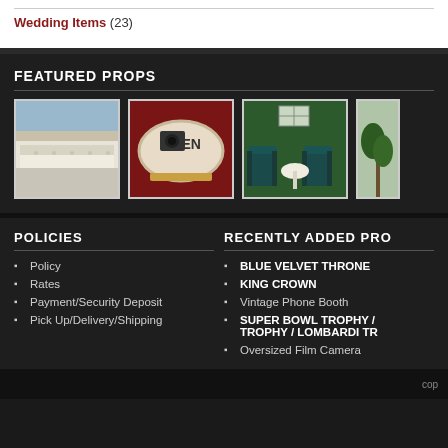Wedding Items (23)
FEATURED PROPS
[Figure (photo): White tufted sofa prop]
[Figure (photo): Vintage sign with letters on dark red velvet background]
[Figure (photo): Two teal chairs and white table against green hedge wall]
[Figure (photo): Partial view of a fourth prop image]
POLICIES
Policy
Rates
Payment/Security Deposit
Pick Up/Delivery/Shipping
RECENTLY ADDED PRO
BLUE VELVET THRONE
KING CROWN
Vintage Phone Booth
SUPER BOWL TROPHY / TROPHY / LOMBARDI TR
Oversized Film Camera
cop